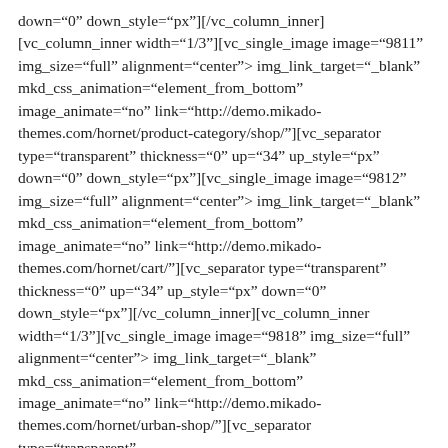down="0" down_style="px"][/vc_column_inner] [vc_column_inner width="1/3"][vc_single_image image="9811" img_size="full" alignment="center" onclick="custom_link" img_link_target="_blank" mkd_css_animation="element_from_bottom" image_animate="no" link="http://demo.mikado-themes.com/hornet/product-category/shop/"][vc_separator type="transparent" thickness="0" up="34" up_style="px" down="0" down_style="px"][vc_single_image image="9812" img_size="full" alignment="center" onclick="custom_link" img_link_target="_blank" mkd_css_animation="element_from_bottom" image_animate="no" link="http://demo.mikado-themes.com/hornet/cart/"][vc_separator type="transparent" thickness="0" up="34" up_style="px" down="0" down_style="px"][/vc_column_inner][vc_column_inner width="1/3"][vc_single_image image="9818" img_size="full" alignment="center" onclick="custom_link" img_link_target="_blank" mkd_css_animation="element_from_bottom" image_animate="no" link="http://demo.mikado-themes.com/hornet/urban-shop/"][vc_separator type="transparent" thickness="0" up="34" up_style="px" down="0" down_style="px"][vc_single_image image="9815" img_size="full" alignment="center" onclick="custom_link"